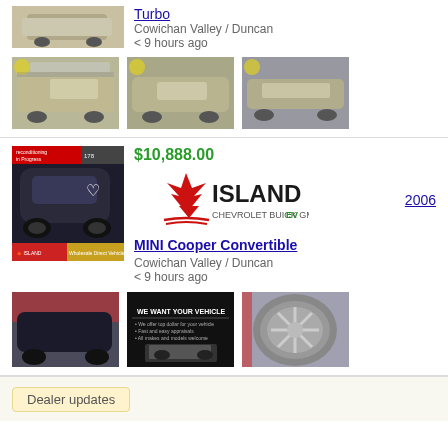[Figure (photo): Partial thumbnail of a silver car at top of page]
Turbo
Cowichan Valley / Duncan
< 9 hours ago
[Figure (photo): Silver Chevrolet Cruze front view]
[Figure (photo): Silver Chevrolet Cruze front-angle view]
[Figure (photo): Silver Chevrolet Cruze side view]
$10,888.00
[Figure (logo): Island Chevrolet Buick GMC EV logo with maple leaf]
2006
[Figure (photo): Black MINI Cooper Convertible with Island Wholesale Direct Vehicle overlay]
MINI Cooper Convertible
Cowichan Valley / Duncan
< 9 hours ago
[Figure (photo): Black MINI Cooper rear view in parking lot]
[Figure (photo): We Want Your Vehicle promotional image]
[Figure (photo): Close-up of silver alloy wheel]
Dealer updates